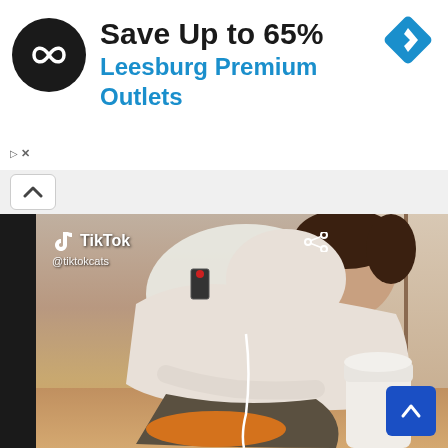[Figure (screenshot): Advertisement banner for Leesburg Premium Outlets showing a circular logo with infinity-like symbol, 'Save Up to 65%' text in bold black, 'Leesburg Premium Outlets' in blue, and a blue diamond navigation icon in the top right. Below the ad is a TikTok video screenshot showing a young man in a white hoodie leaning over a cat on the floor, with a white protein powder jar visible. TikTok branding and @tiktokcats handle are shown in the top left of the video.]